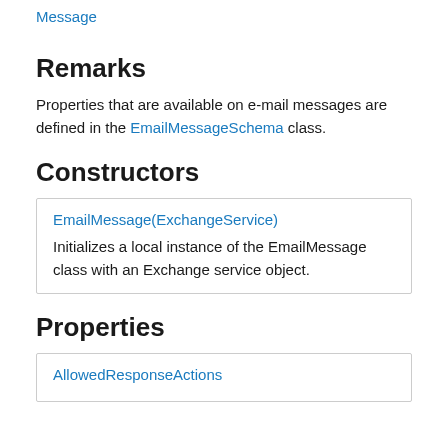Message
Remarks
Properties that are available on e-mail messages are defined in the EmailMessageSchema class.
Constructors
| EmailMessage(ExchangeService) | Initializes a local instance of the EmailMessage class with an Exchange service object. |
Properties
| AllowedResponseActions |  |